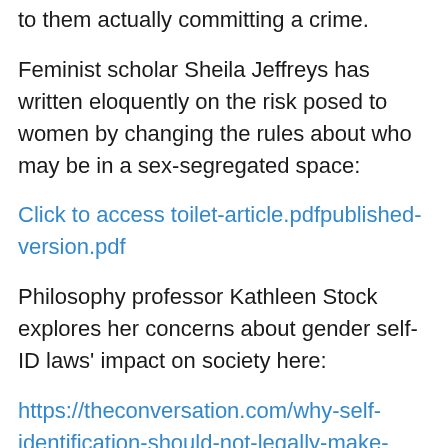to them actually committing a crime.
Feminist scholar Sheila Jeffreys has written eloquently on the risk posed to women by changing the rules about who may be in a sex-segregated space:
Click to access toilet-article.pdfpublished-version.pdf
Philosophy professor Kathleen Stock explores her concerns about gender self-ID laws' impact on society here:
https://theconversation.com/why-self-identification-should-not-legally-make-you-a-woman-103372
Voting yes on Question 3 is not necessary to